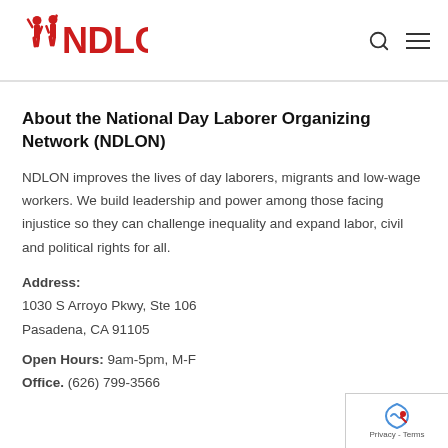[Figure (logo): NDLON logo with red silhouette figures and bold red text NDLON]
About the National Day Laborer Organizing Network (NDLON)
NDLON improves the lives of day laborers, migrants and low-wage workers. We build leadership and power among those facing injustice so they can challenge inequality and expand labor, civil and political rights for all.
Address: 1030 S Arroyo Pkwy, Ste 106 Pasadena, CA 91105
Open Hours: 9am-5pm, M-F
Office. (626) 799-3566